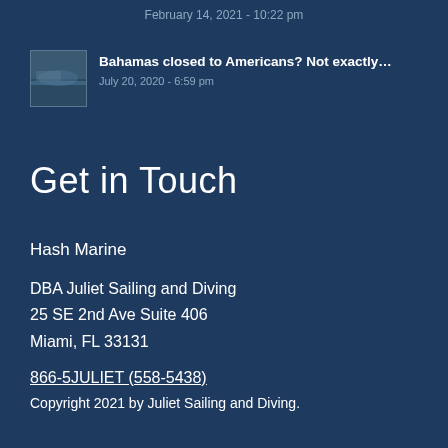February 14, 2021 - 10:22 pm
Bahamas closed to Americans? Not exactly…
July 20, 2020 - 6:59 pm
Get in Touch
Hash Marine
DBA Juliet Sailing and Diving
25 SE 2nd Ave Suite 406
Miami, FL 33131
866-5JULIET (558-5438)
Copyright 2021 by Juliet Sailing and Diving.